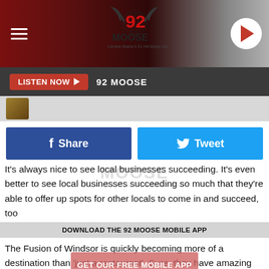92 MOOSE
LISTEN NOW  92 MOOSE
[Figure (screenshot): Facebook Share button (blue) and Twitter Tweet button (cyan)]
It's always nice to see local businesses succeeding. It's even better to see local businesses succeeding so much that they're able to offer up spots for other locals to come in and succeed, too
DOWNLOAD THE 92 MOOSE MOBILE APP
GET OUR FREE MOBILE APP
The Fusion of Windsor is quickly becoming more of a destination than 'just a restaurant'. Sure, they have amazing home-cooked food, a delicious dessert menu, farmers market, custom seasonal cocktails, a beautiful bar and entertainment each weekend. But they have so much more than that!